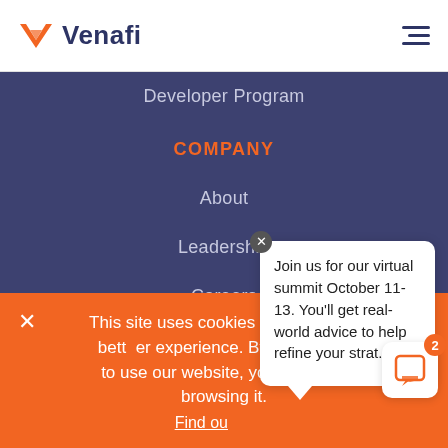[Figure (logo): Venafi logo with orange V chevron and dark blue 'Venafi' wordmark, plus hamburger menu icon on right]
Developer Program
COMPANY
About
Leadership
Careers
Partners
Press Releases
Privacy Policy | Support | Disclosure
This site uses cookies to offer you a better experience. By continuing to use our website, you agree by browsing it. Find out...
Join us for our virtual summit October 11-13. You'll get real-world advice to help refine your strat...